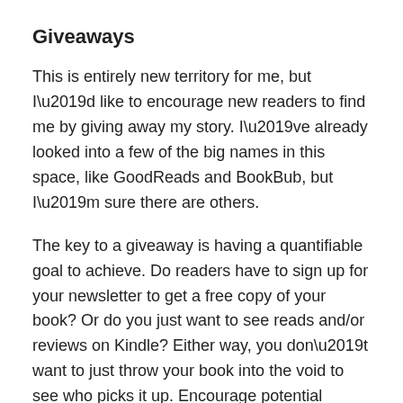Giveaways
This is entirely new territory for me, but I’d like to encourage new readers to find me by giving away my story. I’ve already looked into a few of the big names in this space, like GoodReads and BookBub, but I’m sure there are others.
The key to a giveaway is having a quantifiable goal to achieve. Do readers have to sign up for your newsletter to get a free copy of your book? Or do you just want to see reads and/or reviews on Kindle? Either way, you don’t want to just throw your book into the void to see who picks it up. Encourage potential readers to take an action.
Conventions